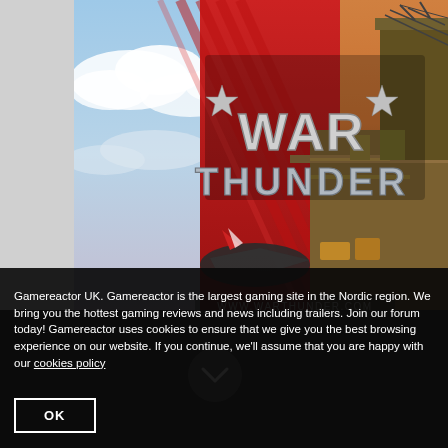[Figure (screenshot): War Thunder game promotional banner showing a naval aircraft carrier scene with aircraft on deck at sunset/dusk, featuring the War Thunder logo with stars, metallic lettering, red diagonal stripe background, and www.warthunder.com website URL. Left portion shows a blue sky with clouds.]
Gamereactor UK. Gamereactor is the largest gaming site in the Nordic region. We bring you the hottest gaming reviews and news including trailers. Join our forum today! Gamereactor uses cookies to ensure that we give you the best browsing experience on our website. If you continue, we'll assume that you are happy with our cookies policy
OK